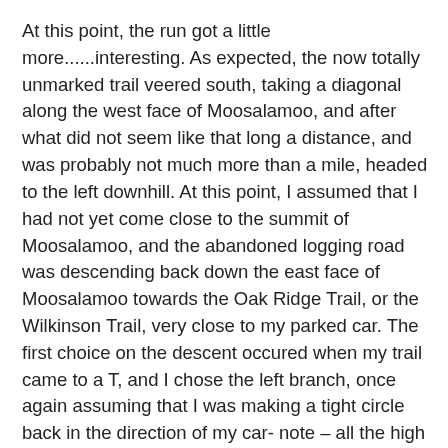At this point, the run got a little more......interesting.  As expected, the now totally unmarked trail veered south, taking a diagonal along the west face of Moosalamoo, and after what did not seem like that long a distance, and was probably not much more than a mile, headed to the left downhill.  At this point, I assumed that I had not yet come close to the summit of Moosalamoo, and the abandoned logging road was descending back down the east face of Moosalamoo towards the Oak Ridge Trail, or the Wilkinson Trail, very close to my parked car.  The first choice on the descent occured when my trail came to a T, and I chose the left branch, once again assuming that I was making a tight circle back in the direction of my car- note – all the high altitude turns have been left turns – this is supposed to make an easy circle, right?  Shortly after this left turn I came to another fork, the left one uphill, the right one downhill.  After briefly exploring the uphill fork, I did the obvious, and continued down.  I noticed shortly that the trail started to take on a more